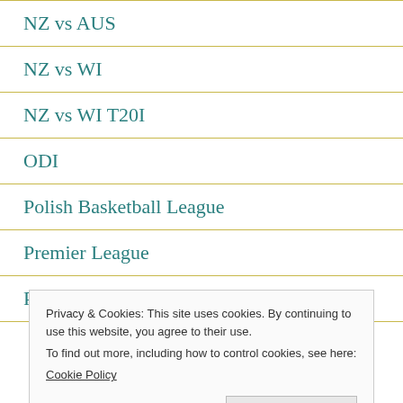NZ vs AUS
NZ vs WI
NZ vs WI T20I
ODI
Polish Basketball League
Premier League
PSL
Privacy & Cookies: This site uses cookies. By continuing to use this website, you agree to their use.
To find out more, including how to control cookies, see here:
Cookie Policy
Close and accept